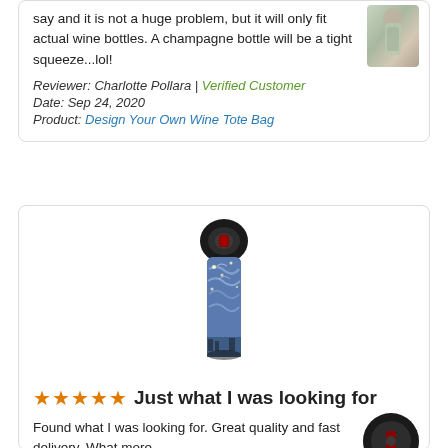say and it is not a huge problem, but it will only fit actual wine bottles. A champagne bottle will be a tight squeeze...lol!
Reviewer: Charlotte Pollara | Verified Customer
Date: Sep 24, 2020
Product: Design Your Own Wine Tote Bag
[Figure (photo): Wine tote bag product thumbnail, top right of first review card]
[Figure (photo): Wine tote bag with Starry Night design, centered in second review card]
★★★★★ Just what I was looking for
Found what I was looking for. Great quality and fast delivery. What more
[Figure (photo): Small circular product thumbnail bottom right of second review card]